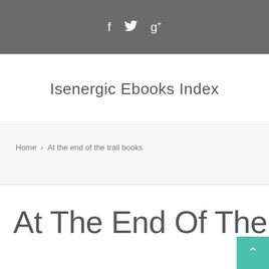f  ✓  g+
Isenergic Ebooks Index
Home › At the end of the trail books
At The End Of The Trail